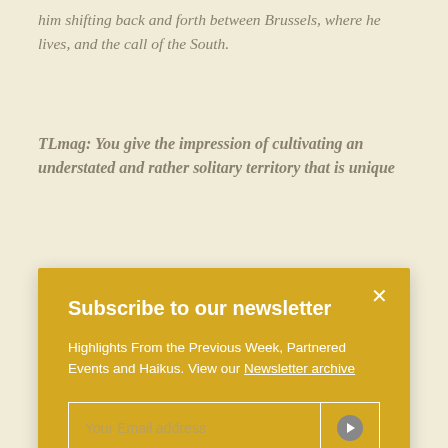him shifting back and forth between Brussels, where he lives, and the call of the South.
TLmag: You give the impression of cultivating an understated and rather solitary territory that is unique
[Figure (screenshot): Newsletter subscription modal popup with yellow/golden background. Contains title 'Subscribe to our newsletter', description text 'Highlights From the Previous Week, Partnered Events and Haikus. View our Newsletter archive', an email input field with placeholder 'Your Email address' and a submit arrow button, and a close X button in the top right corner.]
to design, work and transform materials. Evolve a material by modifying its DNA and binding it to other materials. Through these mixtures, I bring intimacy to my designs.
TLmag: Designing rather eclectic furniture and